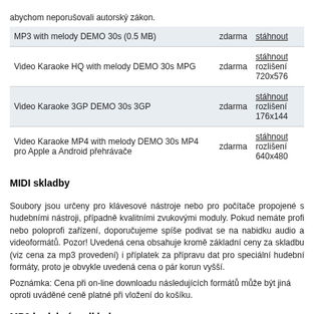abychom neporušovali autorský zákon.
|  | zdarma |  |
| --- | --- | --- |
| MP3 with melody DEMO 30s (0.5 MB) | zdarma | stáhnout |
| Video Karaoke HQ with melody DEMO 30s MPG | zdarma | stáhnout rozlišení 720x576 |
| Video Karaoke 3GP DEMO 30s 3GP | zdarma | stáhnout rozlišení 176x144 |
| Video Karaoke MP4 with melody DEMO 30s MP4 pro Apple a Android přehrávače | zdarma | stáhnout rozlišení 640x480 |
MIDI skladby
Soubory jsou určeny pro klávesové nástroje nebo pro počítače propojené s hudebními nástroji, případně kvalitními zvukovými moduly. Pokud nemáte profi nebo poloprofi zařízení, doporučujeme spíše podivat se na nabidku audio a videoformátů. Pozor! Uvedená cena obsahuje kromě základní ceny za skladbu (viz cena za mp3 provedení) i příplatek za přípravu dat pro speciální hudební formáty, proto je obvykle uvedená cena o pár korun vyšší.
Poznámka: Cena při on-line downloadu následujících formátů může být jiná oproti uváděné ceně platné při vložení do košíku.
MP3 hudební podklady